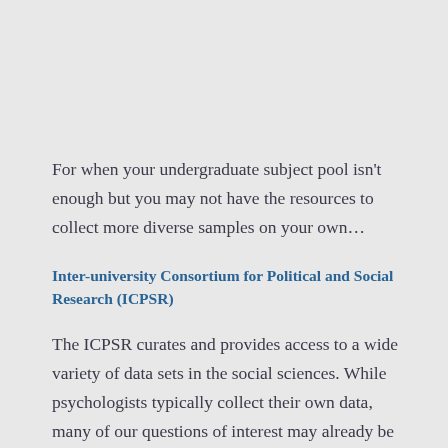For when your undergraduate subject pool isn't enough but you may not have the resources to collect more diverse samples on your own…
Inter-university Consortium for Political and Social Research (ICPSR)
The ICPSR curates and provides access to a wide variety of data sets in the social sciences. While psychologists typically collect their own data, many of our questions of interest may already be answerable with existing data…